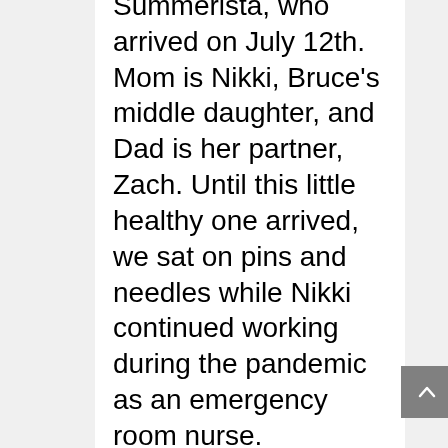Summerista, who arrived on July 12th.  Mom is Nikki, Bruce's middle daughter, and Dad is her partner, Zach.   Until this little healthy one arrived, we sat on pins and needles while Nikki continued working during the pandemic as an emergency room nurse.  Fortunately she got through it unscathed, and just last week Nikki received her first-round Covid vaccination.  Bruce and I have not settled on what we want Sophie to call us, but for now I'm Grammy Pammy and he's